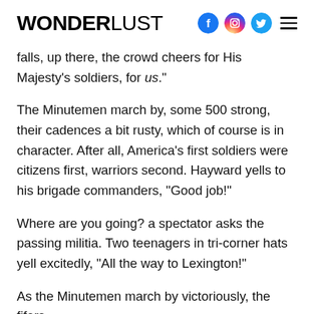WONDERLUST
falls, up there, the crowd cheers for His Majesty’s soldiers, for us.”
The Minutemen march by, some 500 strong, their cadences a bit rusty, which of course is in character. After all, America’s first soldiers were citizens first, warriors second. Hayward yells to his brigade commanders, “Good job!”
Where are you going? a spectator asks the passing militia. Two teenagers in tri-corner hats yell excitedly, “All the way to Lexington!”
As the Minutemen march by victoriously, the fifers